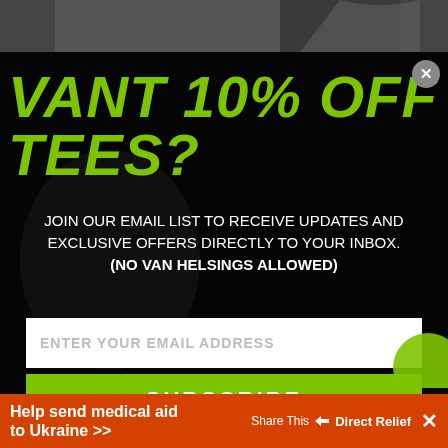[Figure (photo): Top strip showing a partial photo of a person with raised hand, black and white]
VANT 10% OFF TEES?
JOIN OUR EMAIL LIST TO RECEIVE UPDATES AND EXCLUSIVE OFFERS DIRECTLY TO YOUR INBOX. (NO VAN HELSINGS ALLOWED)
[Figure (photo): Dark background with a black and white portrait of a man looking intensely, vampire theme]
ENTER YOUR EMAIL ADDRESS
SUBSCRIBE
*By completing this form you are signing up to receive our emails and can unsubscribe at any time.
Help send medical aid to Ukraine >> Share This [icon] Direct Relief ×